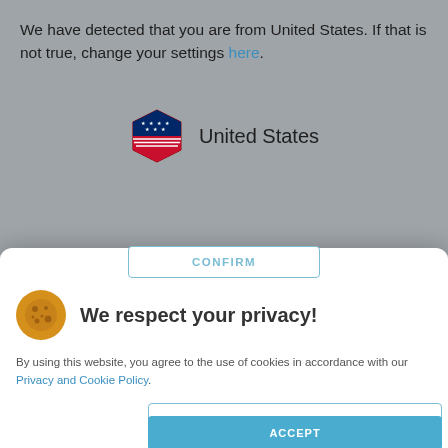We have detected that you are from United States. If that is not true, change your settings here.
[Figure (illustration): US flag hexagon icon with label 'United States']
[Figure (screenshot): Cookie consent modal with title 'We respect your privacy!', cookie icon, CONFIRM button, SETTINGS button, ACCEPT button, and privacy text]
By using this website, you agree to the use of cookies in accordance with our Privacy and Cookie Policy.
Home » News
23rd November 2016
Cisco refreshes advanced security training portfolio